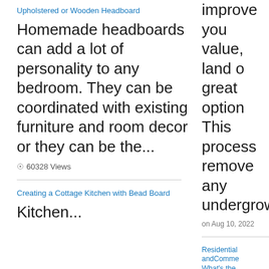Upholstered or Wooden Headboard
Homemade headboards can add a lot of personality to any bedroom. They can be coordinated with existing furniture and room decor or they can be the...
60328 Views
Creating a Cottage Kitchen with Bead Board
Kitchen...
improve you value, land o great option This process remove any undergrowth
on Aug 10, 2022
Residential andCommercial What's the Difference
HVAC denot ventilation, a conditioning, systems ass